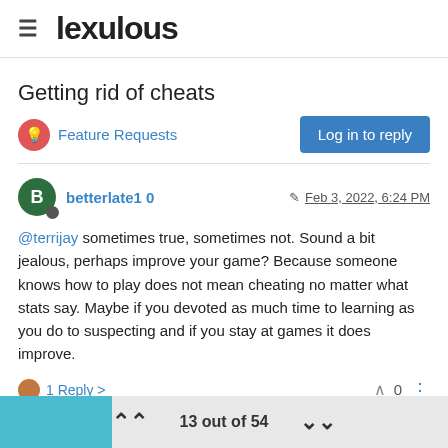≡ lexulous
Getting rid of cheats
Feature Requests
Log in to reply
betterlate1 0  Feb 3, 2022, 6:24 PM
@terrijay sometimes true, sometimes not. Sound a bit jealous, perhaps improve your game? Because someone knows how to play does not mean cheating no matter what stats say. Maybe if you devoted as much time to learning as you do to suspecting and if you stay at games it does improve.
1 Reply >   0
13 out of 54